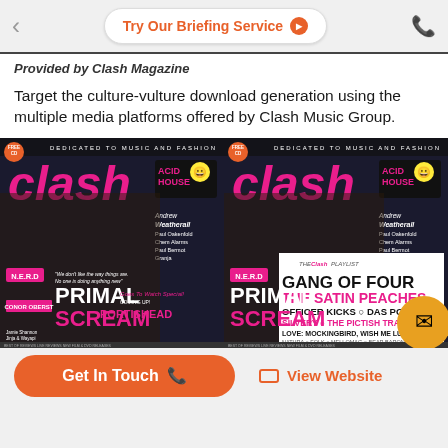[Figure (screenshot): Top navigation bar with back arrow, 'Try Our Briefing Service' orange button, and phone icon]
Provided by Clash Magazine
Target the culture-vulture download generation using the multiple media platforms offered by Clash Music Group.
[Figure (photo): Two Clash Magazine covers side by side featuring Primal Scream, with 'DEDICATED TO MUSIC AND FASHION' header, Acid House logo, and various artist names including Gang of Four, The Satin Peaches, Officer Kicks, Das Pop, Silvery, The Pictish Trail, Mockingbird, Wish Me Luck, Conor Oberst, Portishead]
Get In Touch   View Website